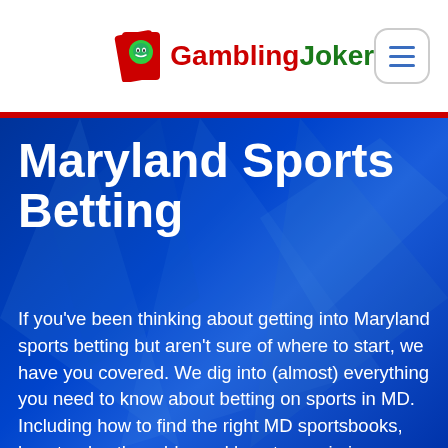GamblingJoker
Maryland Sports Betting
If you've been thinking about getting into Maryland sports betting but aren't sure of where to start, we have you covered. We dig into (almost) everything you need to know about betting on sports in MD. Including how to find the right MD sportsbooks, how to play the odds, and how to maximize your chances of winning big!